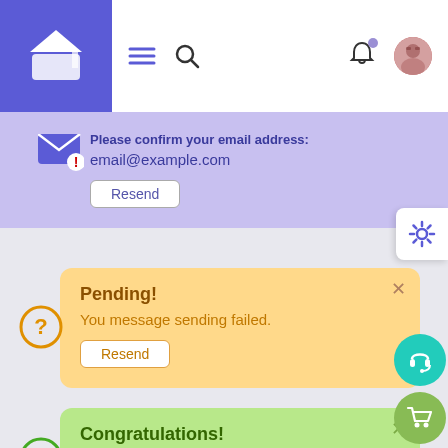[Figure (screenshot): Navigation bar with logo, hamburger menu, search icon, bell notification icon, and user avatar]
Please confirm your email address:
email@example.com
Resend
Pending!
You message sending failed.
Resend
Congratulations!
You have successfully created a account.